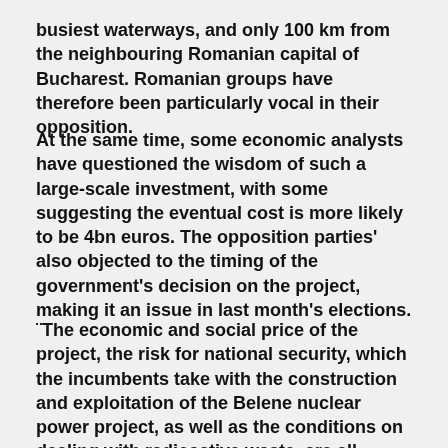busiest waterways, and only 100 km from the neighbouring Romanian capital of Bucharest. Romanian groups have therefore been particularly vocal in their opposition.
At the same time, some economic analysts have questioned the wisdom of such a large-scale investment, with some suggesting the eventual cost is more likely to be 4bn euros. The opposition parties' also objected to the timing of the government's decision on the project, making it an issue in last month's elections.
"The economic and social price of the project, the risk for national security, which the incumbents take with the construction and exploitation of the Belene nuclear power project, as well as the conditions on dealing with radioactive waste, are all unacceptable for Bulgarian society," a statement from the main Bulgarian protest group argued